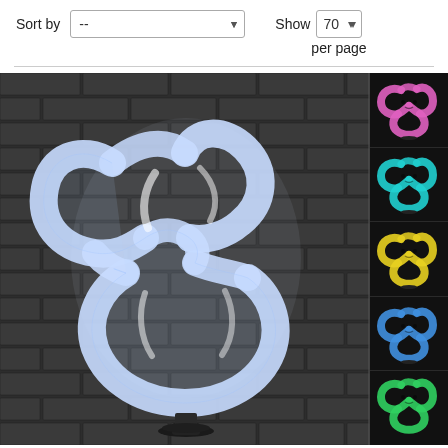Sort by  --   Show  70  per page
[Figure (photo): 3D LED illusion lamp showing an acrylic knot/infinity shape with grid pattern, lit in white/clear color against dark stone brick wall background. Side thumbnails show the same lamp in different colors: pink/purple, teal/cyan, yellow, blue, and green.]